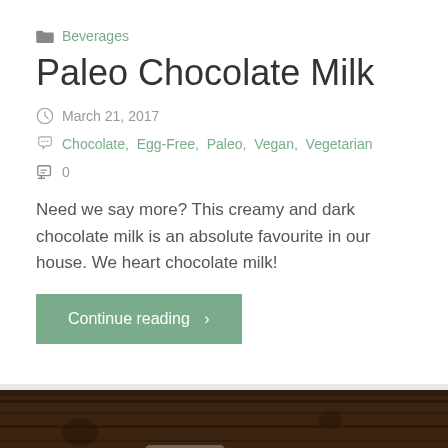Beverages
Paleo Chocolate Milk
March 21, 2017
Chocolate, Egg-Free, Paleo, Vegan, Vegetarian
0
Need we say more? This creamy and dark chocolate milk is an absolute favourite in our house. We heart chocolate milk!
Continue reading  ›
[Figure (photo): Dark wooden table with glass jars, bottom portion of the page]